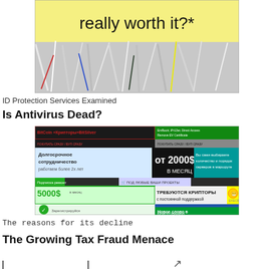[Figure (photo): Photo of a pile of shredded paper on a yellow background with the text 'really worth it?*' at the top]
ID Protection Services Examined
Is Antivirus Dead?
[Figure (screenshot): Screenshot of Russian-language cybercrime/bulletproof hosting websites showing ads for services priced from 2000$ per month, 5000$ per month, with offers like 'ТРЕБУЮТСЯ КРИПТОРЫ с постоянной поддержкой', 'SOLLHOST ABUSE*IMMUNITY HOSTING SERVICE', 'EXECRYPT' and other Russian text]
The reasons for its decline
The Growing Tax Fraud Menace